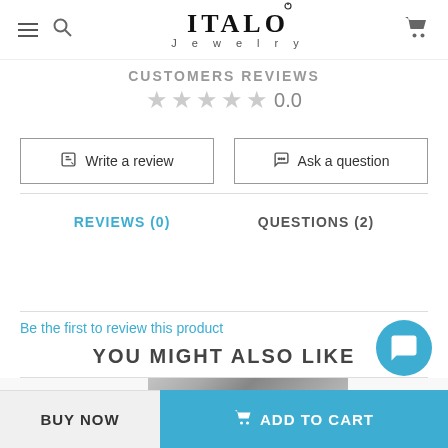ITALO Jewelry
CUSTOMERS REVIEWS
★★★★★ 0.0
✏ Write a review
💬 Ask a question
REVIEWS (0)    QUESTIONS (2)
Be the first to review this product
YOU MIGHT ALSO LIKE
[Figure (photo): Partial product image visible at bottom of page]
BUY NOW
ADD TO CART